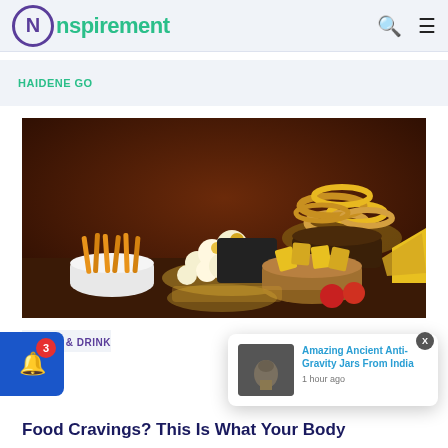Nspirement
HAIDENE GO
[Figure (photo): Assorted snack foods including popcorn, onion rings, cheese sticks, chips, and corn puffs arranged in bowls on a dark wooden surface with a dark brown background.]
FOOD & DRINK
Food Cravings? This Is What Your Body
[Figure (screenshot): Popup notification card showing article 'Amazing Ancient Anti-Gravity Jars From India' with thumbnail, posted 1 hour ago.]